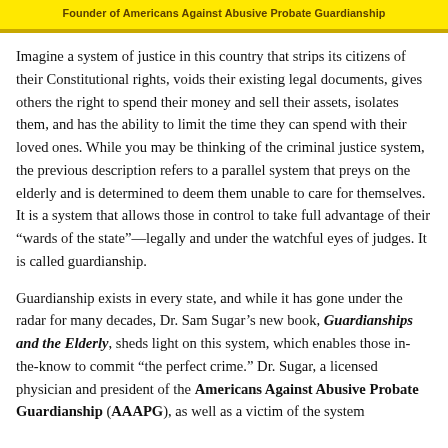Founder of Americans Against Abusive Probate Guardianship
Imagine a system of justice in this country that strips its citizens of their Constitutional rights, voids their existing legal documents, gives others the right to spend their money and sell their assets, isolates them, and has the ability to limit the time they can spend with their loved ones. While you may be thinking of the criminal justice system, the previous description refers to a parallel system that preys on the elderly and is determined to deem them unable to care for themselves. It is a system that allows those in control to take full advantage of their “wards of the state”—legally and under the watchful eyes of judges. It is called guardianship.
Guardianship exists in every state, and while it has gone under the radar for many decades, Dr. Sam Sugar’s new book, Guardianships and the Elderly, sheds light on this system, which enables those in-the-know to commit “the perfect crime.” Dr. Sugar, a licensed physician and president of the Americans Against Abusive Probate Guardianship (AAAPG), as well as a victim of the system